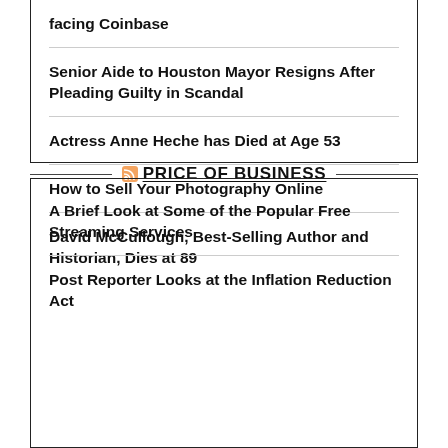facing Coinbase
Senior Aide to Houston Mayor Resigns After Pleading Guilty in Scandal
Actress Anne Heche has Died at Age 53
How to Sell Your Photography Online
David McCullough, Best-Selling Author and Historian, Dies at 89
PRICE OF BUSINESS
A Brief Look at Some of the Popular Free Streaming Services
Post Reporter Looks at the Inflation Reduction Act